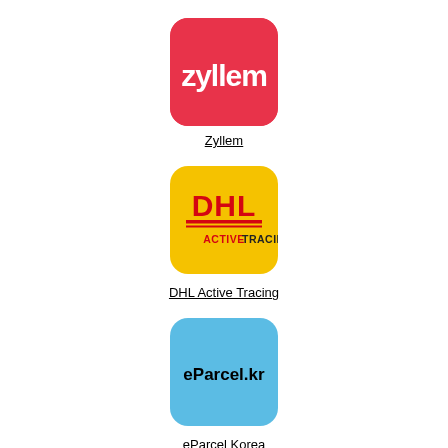[Figure (logo): Zyllem app icon: red/pink rounded square with white bold text 'zyllem']
Zyllem
[Figure (logo): DHL Active Tracing app icon: yellow rounded square with red DHL logo and 'ACTIVETRACING' text below in red and black]
DHL Active Tracing
[Figure (logo): eParcel Korea app icon: light blue rounded square with black bold text 'eParcel.kr']
eParcel Korea
[Figure (logo): Partial blue rounded square icon at bottom of page, cropped]